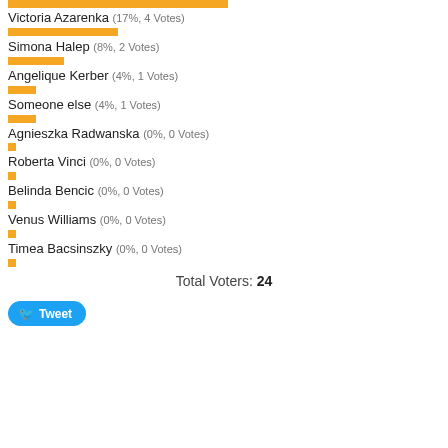[Figure (bar-chart): Poll results - tennis players]
Total Voters: 24